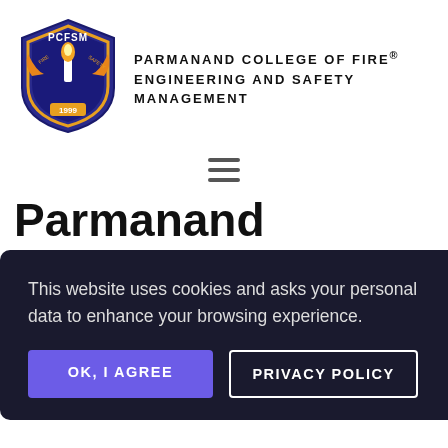[Figure (logo): PCFSM shield logo with flame and torch emblem, established 1999, blue and orange colors]
PARMANAND COLLEGE OF FIRE® ENGINEERING AND SAFETY MANAGEMENT
[Figure (other): Hamburger menu icon with three horizontal lines]
Parmanand College of Fire and Safety, Specialty
This website uses cookies and asks your personal data to enhance your browsing experience.
OK, I AGREE
PRIVACY POLICY